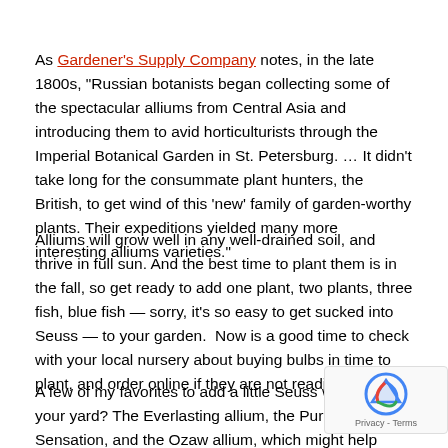As Gardener's Supply Company notes, in the late 1800s, "Russian botanists began collecting some of the spectacular alliums from Central Asia and introducing them to avid horticulturists through the Imperial Botanical Garden in St. Petersburg. … It didn't take long for the consummate plant hunters, the British, to get wind of this 'new' family of garden-worthy plants. Their expeditions yielded many more interesting alliums varieties."
Alliums will grow well in any well-drained soil, and thrive in full sun. And the best time to plant them is in the fall, so get ready to add one plant, two plants, three fish, blue fish — sorry, it's so easy to get sucked into Seuss — to your garden.  Now is a good time to check with your local nursery about buying bulbs in time to plant, and order online if they are not readily available.
A few of my favorites to add a little Seuss whimsey to your yard? The Everlasting allium, the Purple Sensation, and the Ozaw allium, which might help bring back the bees, who love this f
You know who also loves this flower? Martha. Watch her video of